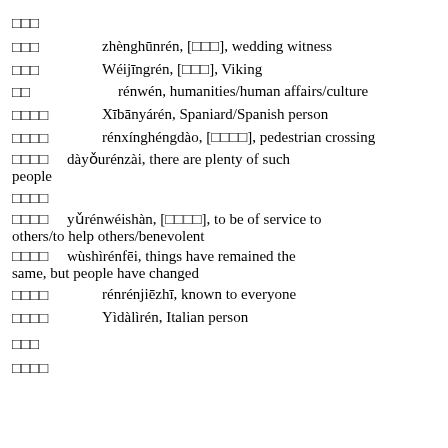□□□
□□□    zhènghūnrén, [□□□], wedding witness
□□□    Wéijīngrén, [□□□], Viking
□□    rénwén, humanities/human affairs/culture
□□□□    Xībānyárén, Spaniard/Spanish person
□□□□    rénxínghéngdào, [□□□□], pedestrian crossing
□□□□    dàyǒurénzài, there are plenty of such people
□□□□
□□□□    yǔrénwéishàn, [□□□□], to be of service to others/to help others/benevolent
□□□□    wùshìrénfēi, things have remained the same, but people have changed
□□□□    rénrénjiēzhī, known to everyone
□□□□    Yìdàlìrén, Italian person
□□□
□□□□    ...